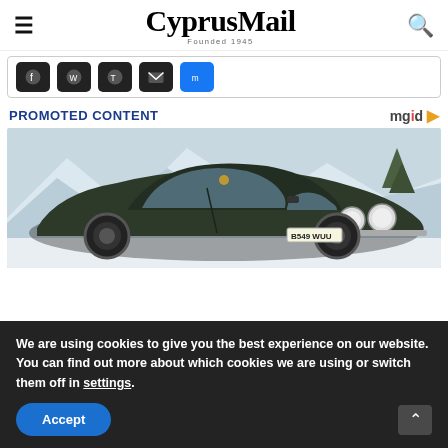CyprusMail — Founded 1945
[Figure (screenshot): Social sharing icons row: Facebook, WhatsApp, Telegram, Email, and another messaging icon on dark background buttons]
PROMOTED CONTENT
[Figure (photo): Dark green Aston Martin V8 classic car photographed in snowy mountain setting, license plate B549 WUU]
We are using cookies to give you the best experience on our website.
You can find out more about which cookies we are using or switch them off in settings.
Accept